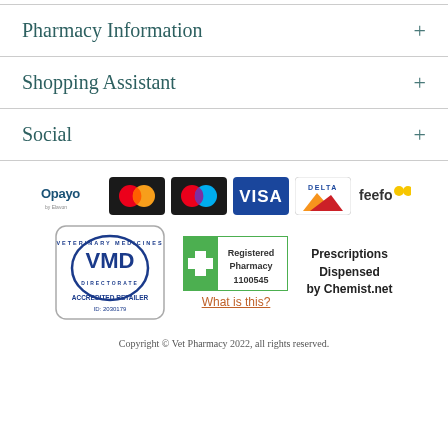Pharmacy Information
Shopping Assistant
Social
[Figure (logo): Payment logos: Opayo, Mastercard, Maestro, Visa, Delta, Feefo]
[Figure (logo): VMD Accredited Retailer badge ID: 2030179, Registered Pharmacy 1100545, What is this? link, Prescriptions Dispensed by Chemist.net]
Copyright © Vet Pharmacy 2022, all rights reserved.